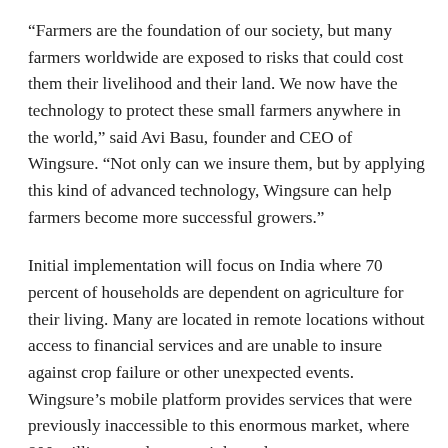“Farmers are the foundation of our society, but many farmers worldwide are exposed to risks that could cost them their livelihood and their land. We now have the technology to protect these small farmers anywhere in the world,” said Avi Basu, founder and CEO of Wingsure. “Not only can we insure them, but by applying this kind of advanced technology, Wingsure can help farmers become more successful growers.”
Initial implementation will focus on India where 70 percent of households are dependent on agriculture for their living. Many are located in remote locations without access to financial services and are unable to insure against crop failure or other unexpected events. Wingsure’s mobile platform provides services that were previously inaccessible to this enormous market, where 800 million people are agri dependent.